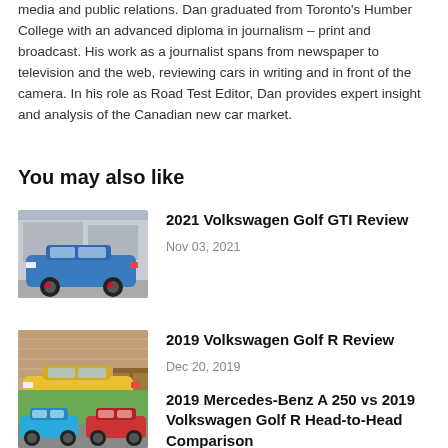media and public relations. Dan graduated from Toronto's Humber College with an advanced diploma in journalism – print and broadcast. His work as a journalist spans from newspaper to television and the web, reviewing cars in writing and in front of the camera. In his role as Road Test Editor, Dan provides expert insight and analysis of the Canadian new car market.
You may also like
[Figure (photo): Blue Volkswagen Golf GTI parked in front of a building with graffiti]
2021 Volkswagen Golf GTI Review
Nov 03, 2021
[Figure (photo): Yellow Volkswagen Golf R parked in front of a brick building with wooden crates]
2019 Volkswagen Golf R Review
Dec 20, 2019
[Figure (photo): Blue and red cars side by side on a road surrounded by trees]
2019 Mercedes-Benz A 250 vs 2019 Volkswagen Golf R Head-to-Head Comparison